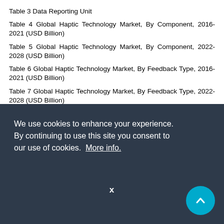Table 3 Data Reporting Unit
Table 4 Global Haptic Technology Market, By Component, 2016-2021 (USD Billion)
Table 5 Global Haptic Technology Market, By Component, 2022-2028 (USD Billion)
Table 6 Global Haptic Technology Market, By Feedback Type, 2016-2021 (USD Billion)
Table 7 Global Haptic Technology Market, By Feedback Type, 2022-2028 (USD Billion)
…tion,
…tion,
…gion,
Table 12 North America Haptic Technology Market, By
We use cookies to enhance your experience. By continuing to use this site you consent to our use of cookies. More info.